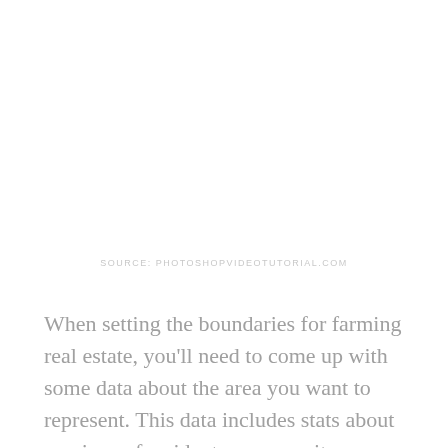SOURCE: PHOTOSHOPVIDEOTUTORIAL.COM
When setting the boundaries for farming real estate, you’ll need to come up with some data about the area you want to represent. This data includes stats about earnings of residents, community transport, and the average age of the residents.